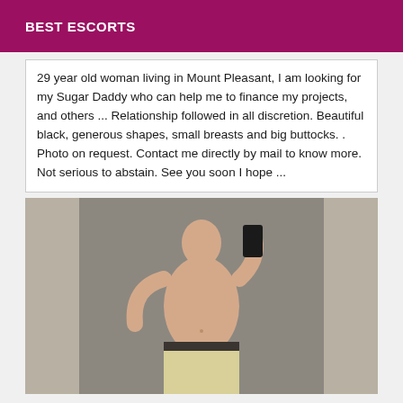BEST ESCORTS
29 year old woman living in Mount Pleasant, I am looking for my Sugar Daddy who can help me to finance my projects, and others ... Relationship followed in all discretion. Beautiful black, generous shapes, small breasts and big buttocks. . Photo on request. Contact me directly by mail to know more. Not serious to abstain. See you soon I hope ...
[Figure (photo): Mirror selfie of a shirtless person holding a phone, standing in front of a gray wall, wearing light-colored shorts with a dark waistband.]